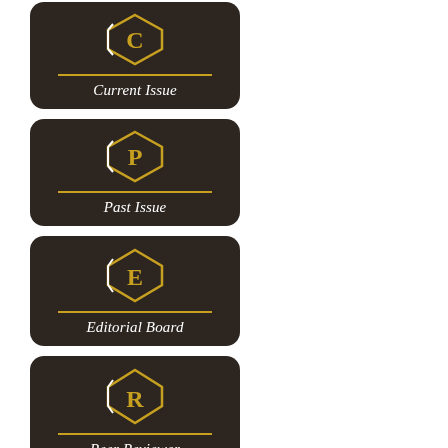[Figure (logo): Dark rounded rectangle badge with gold hexagon outline containing letter C, horizontal gold line, italic white text 'Current Issue']
[Figure (logo): Dark rounded rectangle badge with gold hexagon outline containing letter P, horizontal gold line, italic white text 'Past Issue']
[Figure (logo): Dark rounded rectangle badge with gold hexagon outline containing letter E, horizontal gold line, italic white text 'Editorial Board']
[Figure (logo): Dark rounded rectangle badge with gold hexagon outline containing letter R, horizontal gold line, italic white text 'Peer Reviewer']